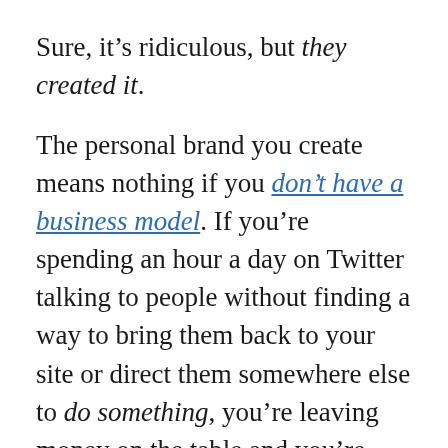Sure, it's ridiculous, but they created it.
The personal brand you create means nothing if you don't have a business model. If you're spending an hour a day on Twitter talking to people without finding a way to bring them back to your site or direct them somewhere else to do something, you're leaving money on the table and you're wasting your time.
Decide what you want these channels to give you and then create a plan for how you'll be accomplishing that.